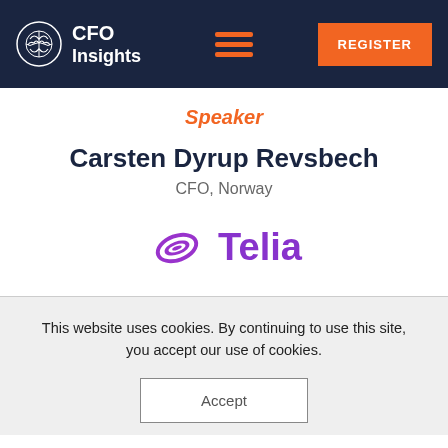CFO Insights
Speaker
Carsten Dyrup Revsbech
CFO, Norway
[Figure (logo): Telia company logo with purple swirl icon and 'Telia' text in purple]
This website uses cookies. By continuing to use this site, you accept our use of cookies.
Accept